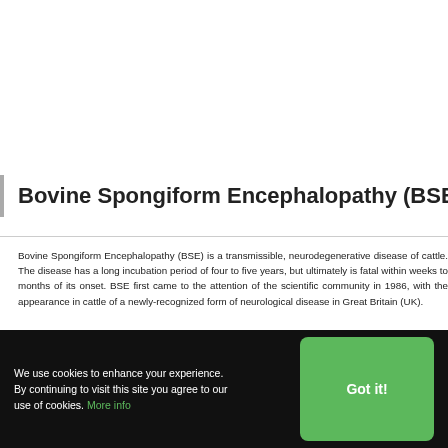Bovine Spongiform Encephalopathy (BSE)
Bovine Spongiform Encephalopathy (BSE) is a transmissible, neurodegenerative disease of cattle. The disease has a long incubation period of four to five years, but ultimately is fatal within weeks to months of its onset. BSE first came to the attention of the scientific community in 1986, with the appearance in cattle of a newly-recognized form of neurological disease in Great Britain (UK).
Cause
We use cookies to enhance your experience. By continuing to visit this site you agree to our use of cookies. More info